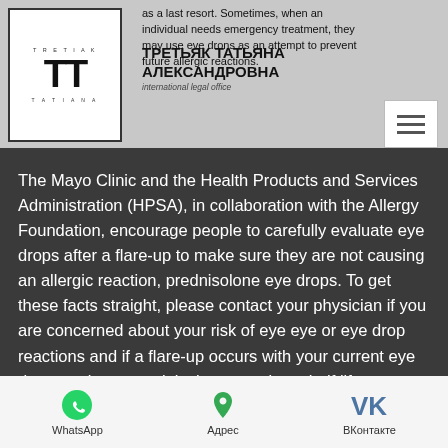as a last resort. Sometimes, when an individual needs emergency treatment, they may use eye drops as an attempt to prevent future allergic reactions.
ТРЕТЬЯК ТАТЬЯНА АЛЕКСАНДРОВНА
International legal office
The Mayo Clinic and the Health Products and Services Administration (HPSA), in collaboration with the Allergy Foundation, encourage people to carefully evaluate eye drops after a flare-up to make sure they are not causing an allergic reaction, prednisolone eye drops. To get these facts straight, please contact your physician if you are concerned about your risk of eye eye or eye drop reactions and if a flare-up occurs with your current eye drops regimen, prednisolone eye drops half life.
WhatsApp   Адрес   ВКонтакте